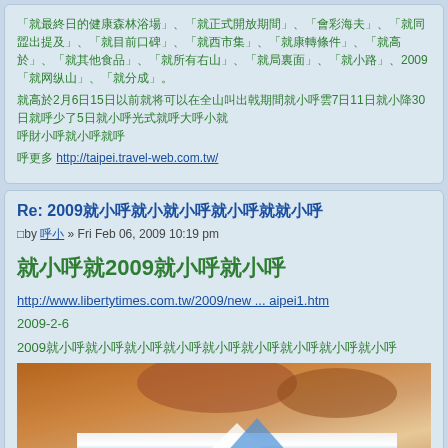（CJK characters）2009（CJK characters）
（CJK characters）2月6日15（CJK characters）7月11（CJK characters）30（CJK characters）5（CJK characters）
（CJK characters） http://taipei.travel-web.com.tw/
Re: 2009（CJK characters）
by （user） » Fri Feb 06, 2009 10:19 pm
（CJK characters）2009（CJK characters）
http://www.libertytimes.com.tw/2009/new ... aipei1.htm
2009-2-6
2009（CJK characters）
[Figure (photo): A partial photo showing what appears to be a person or object, with warm brown tones and some blue/white elements at the bottom.]